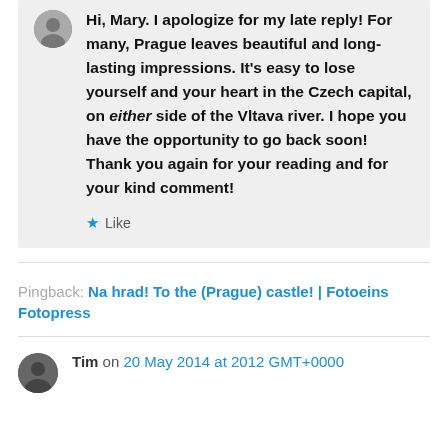Hi, Mary. I apologize for my late reply! For many, Prague leaves beautiful and long-lasting impressions. It's easy to lose yourself and your heart in the Czech capital, on either side of the Vltava river. I hope you have the opportunity to go back soon! Thank you again for your reading and for your kind comment!
★ Like
Pingback: Na hrad! To the (Prague) castle! | Fotoeins Fotopress
Tim on 20 May 2014 at 2012 GMT+0000